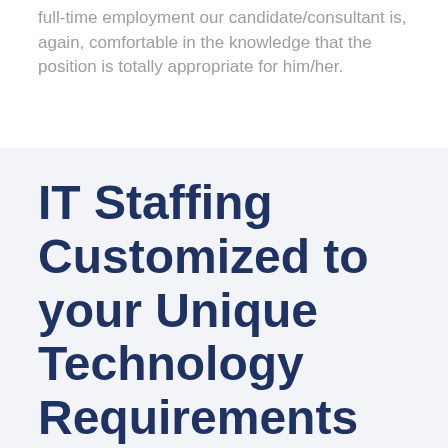full-time employment our candidate/consultant is, again, comfortable in the knowledge that the position is totally appropriate for him/her.
IT Staffing Customized to your Unique Technology Requirements
Flexible IT Staffing and Recruiting